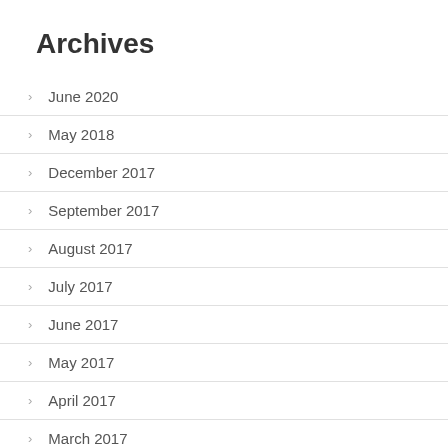Archives
June 2020
May 2018
December 2017
September 2017
August 2017
July 2017
June 2017
May 2017
April 2017
March 2017